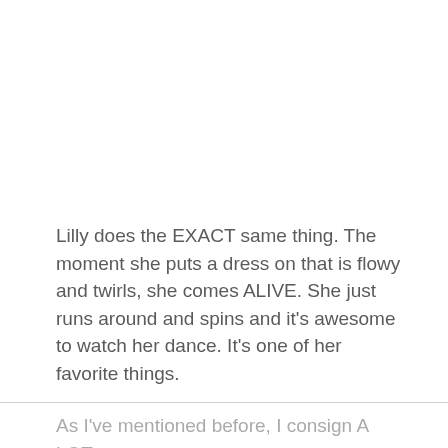Lilly does the EXACT same thing. The moment she puts a dress on that is flowy and twirls, she comes ALIVE. She just runs around and spins and it’s awesome to watch her dance. It’s one of her favorite things.
As I’ve mentioned before, I consign A LOT